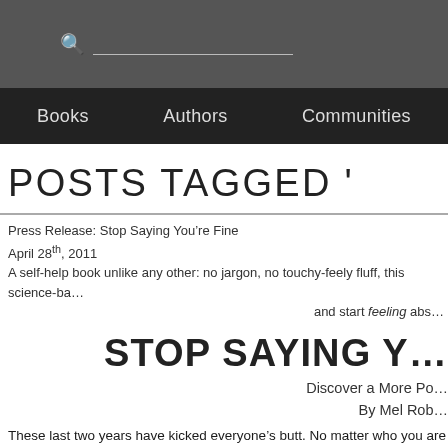Search bar with Books, Authors, Communities navigation
POSTS TAGGED '
Press Release: Stop Saying You're Fine
April 28th, 2011
A self-help book unlike any other: no jargon, no touchy-feely fluff, this science-ba... and start feeling abso...
STOP SAYING Y...
Discover a More Po...
By Mel Rob...
These last two years have kicked everyone's butt. No matter who you are or whe... 100 million Americans secretly feel frustrated and bored with their lives because w... less sleep. It's time to fight back; but when you can barely survive your day, how... In STOP SAYING YOU'RE FINE: Discover a More Powerful You (Crown Arc...